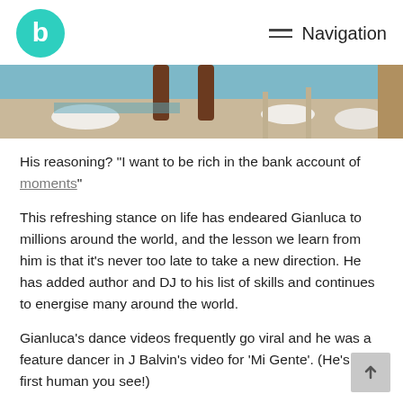Navigation
[Figure (photo): Partial photo of a person dancing near a pool, cropped to show lower body and legs]
His reasoning? "I want to be rich in the bank account of moments"
This refreshing stance on life has endeared Gianluca to millions around the world, and the lesson we learn from him is that it's never too late to take a new direction. He has added author and DJ to his list of skills and continues to energise many around the world.
Gianluca's dance videos frequently go viral and he was a feature dancer in J Balvin's video for 'Mi Gente'. (He's the first human you see!)